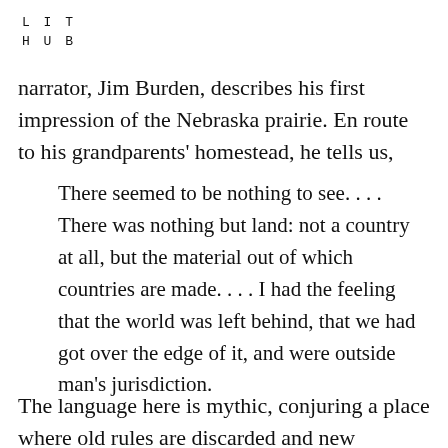LIT
HUB
narrator, Jim Burden, describes his first impression of the Nebraska prairie. En route to his grandparents' homestead, he tells us,
There seemed to be nothing to see. . . . There was nothing but land: not a country at all, but the material out of which countries are made. . . . I had the feeling that the world was left behind, that we had got over the edge of it, and were outside man's jurisdiction.
The language here is mythic, conjuring a place where old rules are discarded and new